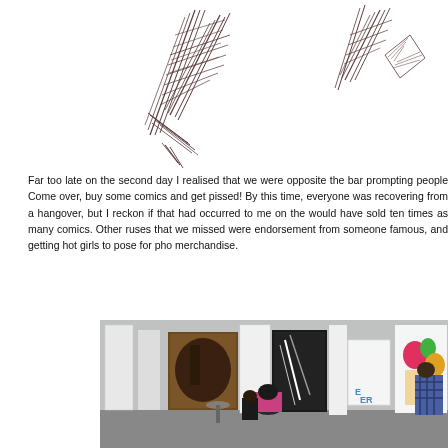[Figure (illustration): Two abstract pencil/pen sketch drawings with heavy hatching and sharp angular forms, resembling lightning bolt or feather shapes, on white background]
Far too late on the second day I realised that we were opposite the bar prompting people Come over, buy some comics and get pissed! By this time, everyone was recovering from a hangover, but I reckon if that had occurred to me on the would have sold ten times as many comics. Other ruses that we missed were endorsement from someone famous, and getting hot girls to pose for pho merchandise.
[Figure (photo): Indoor art exhibition or studio space with large canvases and artwork displayed. People are visible from behind looking at the artwork. Artworks include dark figurative paintings and colorful illustrated pieces. A person in a plaid shirt works on a large canvas on the right.]